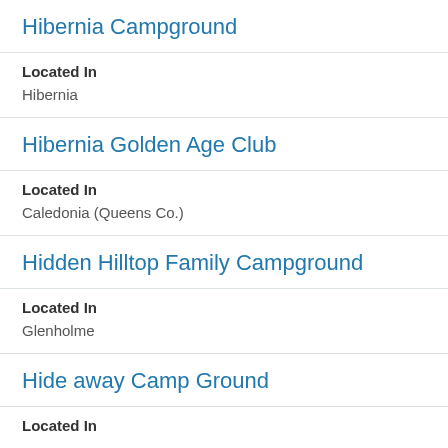Hibernia Campground
Located In
Hibernia
Hibernia Golden Age Club
Located In
Caledonia (Queens Co.)
Hidden Hilltop Family Campground
Located In
Glenholme
Hide away Camp Ground
Located In